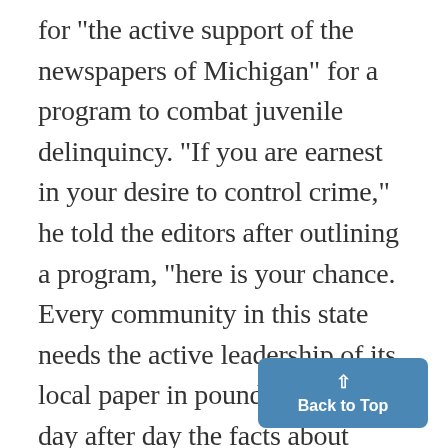for "the active support of the newspapers of Michigan" for a program to combat juvenile delinquincy. "If you are earnest in your desire to control crime," he told the editors after outlining a program, "here is your chance. Every community in this state needs the active leadership of its local paper in pounding home day after day the facts about delinquency and stimulating local leaders to carry on." Although he praised the Americ press for having been "the grea